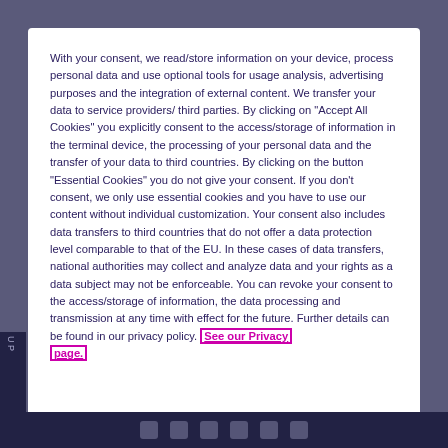With your consent, we read/store information on your device, process personal data and use optional tools for usage analysis, advertising purposes and the integration of external content. We transfer your data to service providers/ third parties. By clicking on "Accept All Cookies" you explicitly consent to the access/storage of information in the terminal device, the processing of your personal data and the transfer of your data to third countries. By clicking on the button "Essential Cookies" you do not give your consent. If you don't consent, we only use essential cookies and you have to use our content without individual customization. Your consent also includes data transfers to third countries that do not offer a data protection level comparable to that of the EU. In these cases of data transfers, national authorities may collect and analyze data and your rights as a data subject may not be enforceable. You can revoke your consent to the access/storage of information, the data processing and transmission at any time with effect for the future. Further details can be found in our privacy policy. See our Privacy page.